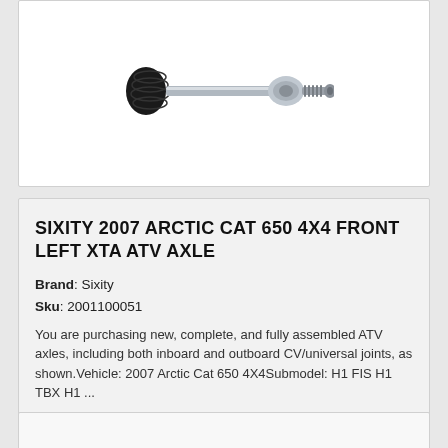[Figure (photo): Partial view of an ATV CV axle drive shaft component on white background]
SIXITY 2007 ARCTIC CAT 650 4X4 FRONT LEFT XTA ATV AXLE
Brand: Sixity
Sku: 2001100051
You are purchasing new, complete, and fully assembled ATV axles, including both inboard and outboard CV/universal joints, as shown.Vehicle: 2007 Arctic Cat 650 4X4Submodel: H1 FIS H1 TBX H1 ...
PRICING & INFO
$97.99
[Figure (other): Partial view of a second product card at bottom edge]